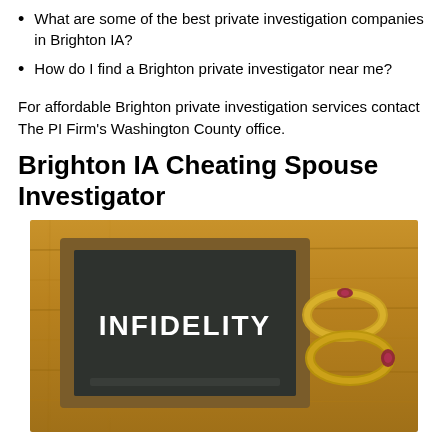What are some of the best private investigation companies in Brighton IA?
How do I find a Brighton private investigator near me?
For affordable Brighton private investigation services contact The PI Firm’s Washington County office.
Brighton IA Cheating Spouse Investigator
[Figure (photo): Photo of a chalkboard with the word INFIDELITY written in bold white text, framed in wood, placed on a wooden surface beside two rings.]